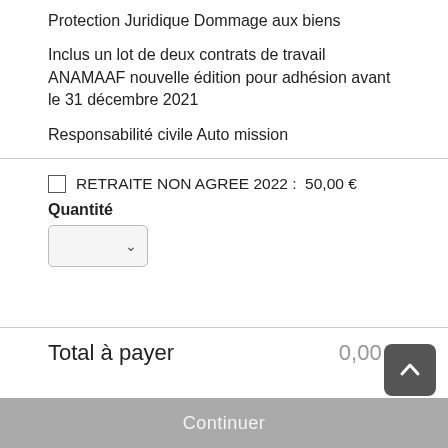Protection Juridique Dommage aux biens
Inclus un lot de deux contrats de travail ANAMAAF nouvelle édition pour adhésion avant le 31 décembre 2021
Responsabilité civile Auto mission
RETRAITE NON AGREE 2022 :  50,00 €
Quantité
Total à payer
0,00 €
Continuer